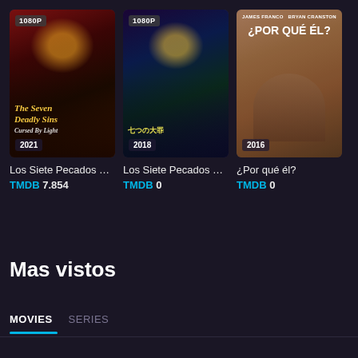[Figure (other): Movie poster for 'Los Siete Pecados Capitales' (2021) with 1080P badge, anime style artwork, year badge showing 2021]
Los Siete Pecados C...
TMDB 7.854
[Figure (other): Movie poster for 'Los Siete Pecados Capitales' (2018) with 1080P badge, anime style artwork, year badge showing 2018]
Los Siete Pecados C...
TMDB 0
[Figure (other): Movie poster for '¿Por qué él?' (2016), James Franco and Bryan Cranston, year badge showing 2016]
¿Por qué él?
TMDB 0
Mas vistos
MOVIES   SERIES